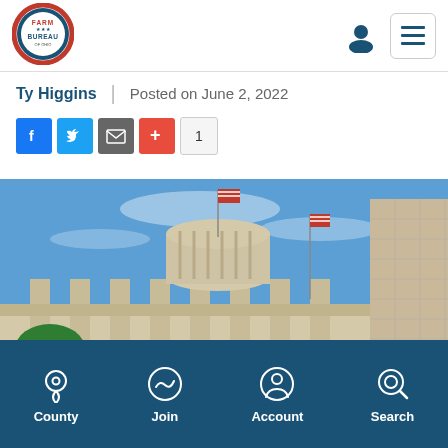[Figure (logo): Ohio Farm Bureau logo — circular badge with red and blue colors, text FARM BUREAU]
Ty Higgins | Posted on June 2, 2022
[Figure (infographic): Social share buttons: Facebook (blue), Twitter (blue), Email/share (gray), Plus/add (red), share count badge showing 1]
[Figure (photo): Ohio Statehouse capitol building dome with American flags against blue sky, with modern office buildings in background]
County  Join  Account  Search